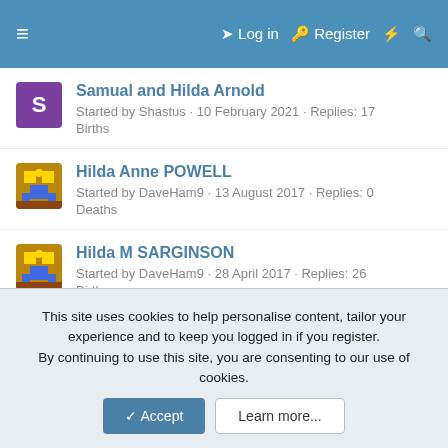≡  Log in  Register  ⚡  🔍
Samual and Hilda Arnold
Started by Shastus · 10 February 2021 · Replies: 17
Births
Hilda Anne POWELL
Started by DaveHam9 · 13 August 2017 · Replies: 0
Deaths
Hilda M SARGINSON
Started by DaveHam9 · 28 April 2017 · Replies: 26
Births
1939 - Hilda E S Durrant
Started by horse · 29 August 2016 · Replies: 4
English Genealogy Roots
Hilda S Durrant
Started by horse · 8 March 2016 · Replies: 7
This site uses cookies to help personalise content, tailor your experience and to keep you logged in if you register.
By continuing to use this site, you are consenting to our use of cookies.